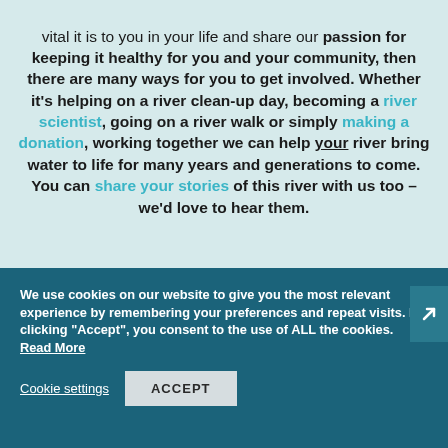vital it is to you in your life and share our passion for keeping it healthy for you and your community, then there are many ways for you to get involved. Whether it's helping on a river clean-up day, becoming a river scientist, going on a river walk or simply making a donation, working together we can help your river bring water to life for many years and generations to come. You can share your stories of this river with us too – we'd love to hear them.
We use cookies on our website to give you the most relevant experience by remembering your preferences and repeat visits. By clicking "Accept", you consent to the use of ALL the cookies. Read More
Cookie settings   ACCEPT